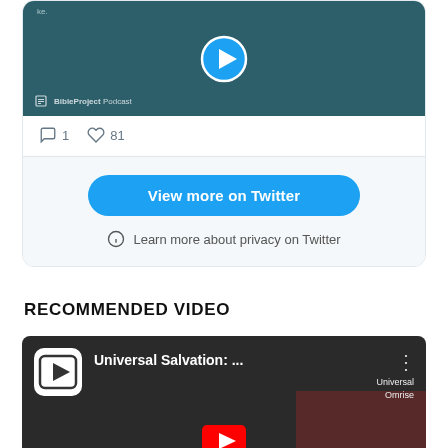[Figure (screenshot): Twitter embedded card showing a BibleProject Podcast video thumbnail with play button, comment count 1, like count 81, a 'View more on Twitter' blue button, and a 'Learn more about privacy on Twitter' link with info icon]
RECOMMENDED VIDEO
[Figure (screenshot): YouTube video thumbnail for 'Universal Salvation: ...' with a cross/speech-bubble icon logo and a YouTube play button overlay, dark background with a person visible]